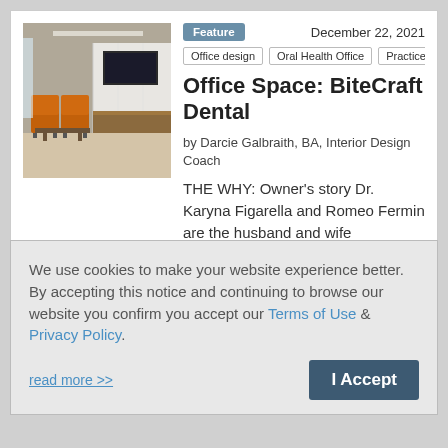[Figure (photo): Interior photo of a dental office waiting area with modern furniture, a wall-mounted TV, white paneling, and orange chairs near a window.]
Feature
December 22, 2021
Office design   Oral Health Office   Practice mana
Office Space: BiteCraft Dental
by Darcie Galbraith, BA, Interior Design Coach
THE WHY: Owner's story Dr. Karyna Figarella and Romeo Fermin are the husband and wife
We use cookies to make your website experience better. By accepting this notice and continuing to browse our website you confirm you accept our Terms of Use & Privacy Policy.
read more >>
I Accept